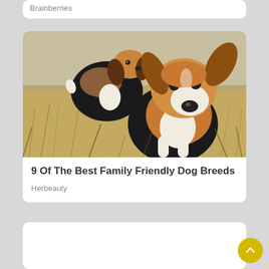Brainberries
[Figure (photo): Two beagle dogs running through tall golden grass, one facing the camera closely with ears flapping.]
9 Of The Best Family Friendly Dog Breeds
Herbeauty